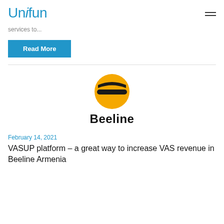Unifun
services to...
Read More
[Figure (logo): Beeline logo: a yellow and black striped circle with the text 'Beeline' below in bold black font]
February 14, 2021
VASUP platform – a great way to increase VAS revenue in Beeline Armenia